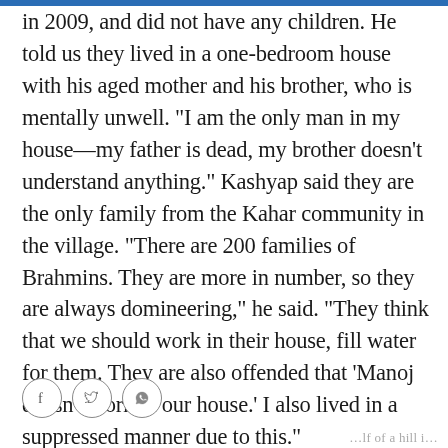in 2009, and did not have any children. He told us they lived in a one-bedroom house with his aged mother and his brother, who is mentally unwell. "I am the only man in my house—my father is dead, my brother doesn't understand anything." Kashyap said they are the only family from the Kahar community in the village. "There are 200 families of Brahmins. They are more in number, so they are always domineering," he said. "They think that we should work in their house, fill water for them. They are also offended that 'Manoj doesn't work in our house.' I also lived in a suppressed manner due to this."
[Figure (other): Social media sharing icons: Facebook (f), Twitter (bird), WhatsApp (phone) in circular outlines]